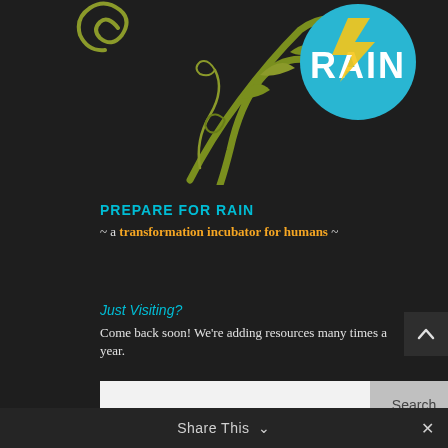[Figure (logo): Prepare For Rain logo with decorative green vine/leaf flourishes and a teal circular emblem with 'RAIN' text in white]
PREPARE FOR RAIN
~ a transformation incubator for humans ~
Just Visiting?
Come back soon! We're adding resources many times a year.
Search
Legal
Legal
Share This ∨  ✕